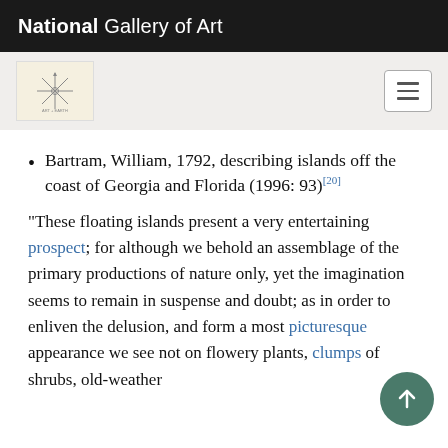National Gallery of Art
[Figure (logo): Navigation bar with decorative logo icon on left and hamburger menu button on right, on light gray background]
Bartram, William, 1792, describing islands off the coast of Georgia and Florida (1996: 93)[20]
“These floating islands present a very entertaining prospect; for although we behold an assemblage of the primary productions of nature only, yet the imagination seems to remain in suspense and doubt; as in order to enliven the delusion, and form a most picturesque appearance we see not on flowery plants, clumps of shrubs, old-weather